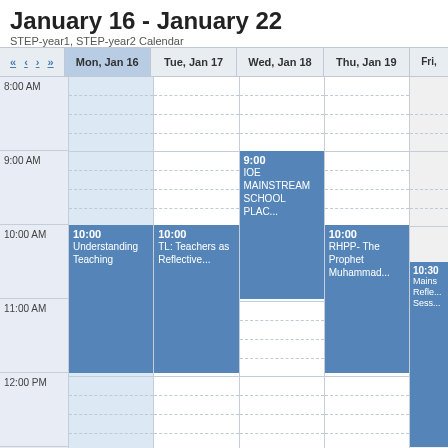January 16 - January 22
STEP-year1, STEP-year2 Calendar
| Time | Mon, Jan 16 | Tue, Jan 17 | Wed, Jan 18 | Thu, Jan 19 | Fri, |
| --- | --- | --- | --- | --- | --- |
| 8:00 AM |  |  |  |  |  |
| 9:00 AM |  |  | 9:00 IOE MAINSTREAM SCHOOL PLAC... |  |  |
| 10:00 AM | 10:00 Understanding Teaching | 10:00 TL: Teachers as Reflective... |  | 10:00 RHPP- The Prophet Muhammad... | 10:30 Mainstream Reflective Sess... |
| 11:00 AM |  |  |  |  |  |
| 12:00 PM |  |  |  |  |  |
| 1:00 PM |  | 1:00 IWTC: Integration with the... |  | 1:00 RHPP- The Prophet Muhammad... |  |
| 2:00 PM |  |  |  |  |  |